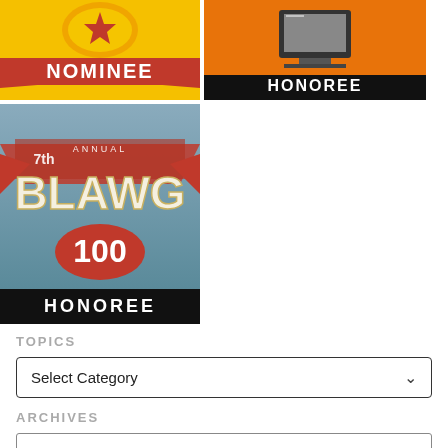[Figure (logo): Nominee badge with golden/yellow background and red ribbon banner reading NOMINEE]
[Figure (logo): Honoree badge with orange background, image of a laptop/award, and black bar reading HONOREE]
[Figure (logo): 7th Annual BLAWG 100 Honoree badge with blue/grey background, decorative ribbons, large stylized text BLAWG 100, and black bar reading HONOREE]
TOPICS
Select Category
ARCHIVES